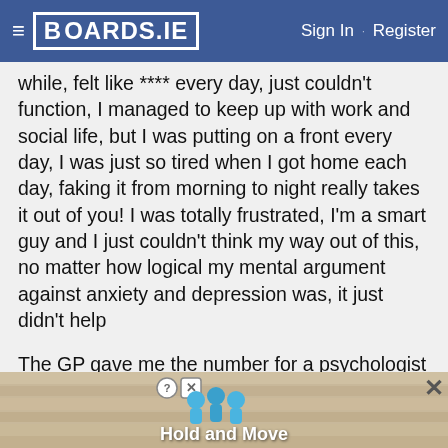BOARDS.IE   Sign In · Register
while, felt like **** every day, just couldn't function, I managed to keep up with work and social life, but I was putting on a front every day, I was just so tired when I got home each day, faking it from morning to night really takes it out of you! I was totally frustrated, I'm a smart guy and I just couldn't think my way out of this, no matter how logical my mental argument against anxiety and depression was, it just didn't help
The GP gave me the number for a psychologist when I saw him, that number sat by my bed for a long time before I called and made my first appointment (another major anxiety attack spurred me on to phone him)
[Figure (screenshot): Advertisement banner at the bottom showing a 'Hold and Move' app ad with cartoon figures and wooden background]